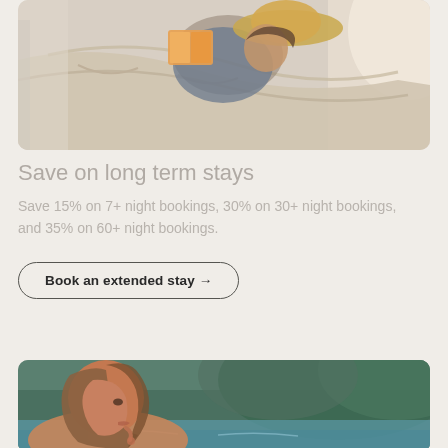[Figure (photo): Man relaxing in a beige hammock reading a book, wearing a straw hat, with bright sunlight in background]
Save on long term stays
Save 15% on 7+ night bookings, 30% on 30+ night bookings, and 35% on 60+ night bookings.
Book an extended stay →
[Figure (photo): Woman with long hair in profile view near a pool with green tropical background]